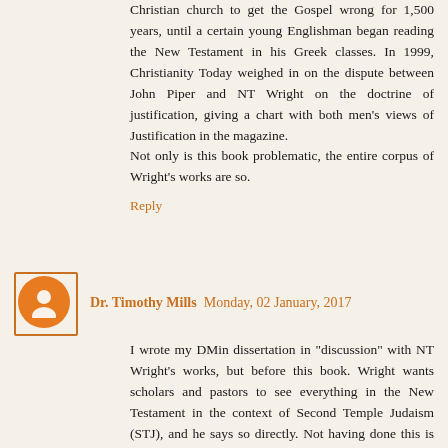Christian church to get the Gospel wrong for 1,500 years, until a certain young Englishman began reading the New Testament in his Greek classes. In 1999, Christianity Today weighed in on the dispute between John Piper and NT Wright on the doctrine of justification, giving a chart with both men's views of Justification in the magazine.
Not only is this book problematic, the entire corpus of Wright's works are so.
Reply
Dr. Timothy Mills  Monday, 02 January, 2017
I wrote my DMin dissertation in "discussion" with NT Wright's works, but before this book. Wright wants scholars and pastors to see everything in the New Testament in the context of Second Temple Judaism (STJ), and he says so directly. Not having done this is the reason everyone, including and especially the Reformers, have got everything about doctrine completely wrong; justification, ecclesiology, hymnology, eschatology - everything wrong. Wright denies the existence of human souls, for example. Wright says directly in his other tomes that the immediate kingdom of God is what the gospels, and especially